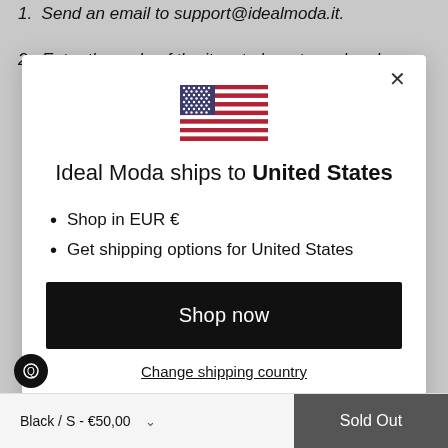1. Send an email to support@idealmoda.it.
2. Enter the code of the item to be returned and a
[Figure (screenshot): Modal dialog showing US flag and shipping information for Ideal Moda]
Ideal Moda ships to United States
Shop in EUR €
Get shipping options for United States
Shop now
Change shipping country
Black / S - €50,00
Sold Out